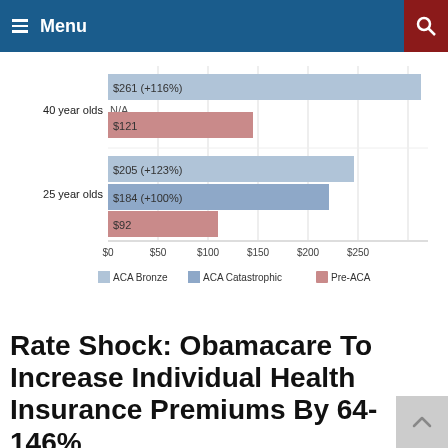Menu
[Figure (bar-chart): Health Insurance Premiums by Age Group]
Rate Shock: Obamacare To Increase Individual Health Insurance Premiums By 64-146%
Posted on May 31, 2013 by Jan Sobieski III | No Comments
One of the most serious flaws with Obamacare is